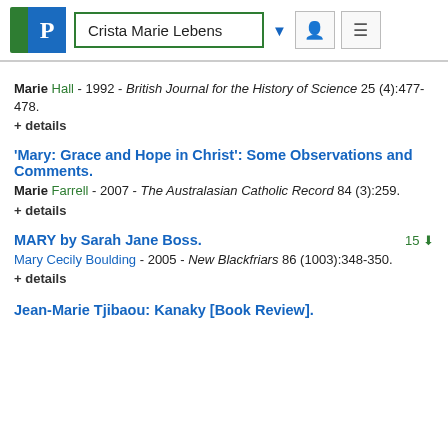Crista Marie Lebens
Marie Hall - 1992 - British Journal for the History of Science 25 (4):477-478.
+ details
'Mary: Grace and Hope in Christ': Some Observations and Comments.
Marie Farrell - 2007 - The Australasian Catholic Record 84 (3):259.
+ details
MARY by Sarah Jane Boss.
15
Mary Cecily Boulding - 2005 - New Blackfriars 86 (1003):348-350.
+ details
Jean-Marie Tjibaou: Kanaky [Book Review].